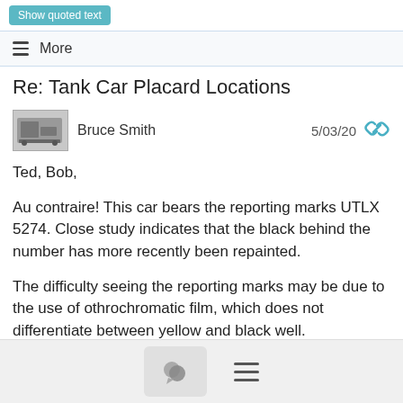Show quoted text
≡ More
Re: Tank Car Placard Locations
Bruce Smith   5/03/20
Ted, Bob,
Au contraire!  This car bears the reporting marks UTLX 5274. Close study indicates that the black behind the number has more recently been repainted.
The difficulty seeing the reporting marks may be due to the use of othrochromatic film, which does not differentiate between yellow and black well.